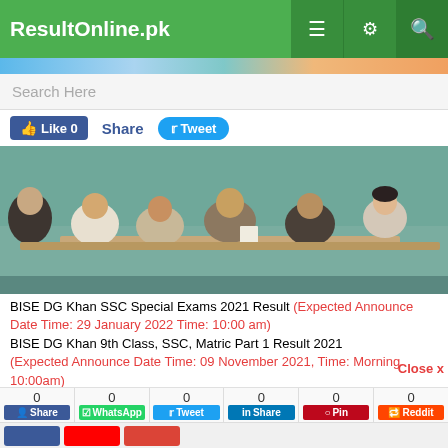ResultOnline.pk
[Figure (screenshot): Website search bar with placeholder text 'Search Here']
[Figure (photo): A group of people sitting around a meeting table in a formal setting, with teal curtains in the background]
BISE DG Khan SSC Special Exams 2021 Result (Expected Announce Date Time: 29 January 2022 Time: 10:00 am) BISE DG Khan 9th Class, SSC, Matric Part 1 Result 2021 (Expected Announce Date Time: 09 November 2021, Time: Morning 10:00am) BISE DG Khan 11th Class, 1st Year, HSSC, FA, FSc, Intermediate (Pre-Engineering, Pre-Medical, General Group, Humanities Group, Arts, Science Group), Inter Part 1 Result 2021 (Expected Announce Date Time: 29 October 2021 Time: Morning 10:00am) BISE DG Khan 12th Class, 2nd Year, HSSC, FA, FSc, Intermediate (Pre-Engineering, Pre-Medical, General Group, Humanities Group, Arts, Science Group), Inter Part 2 Result...
0 Share | 0 WhatsApp | 0 Tweet | 0 Share | 0 Pin | 0 Reddit